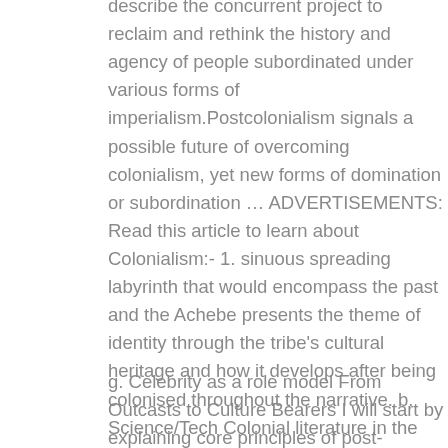describe the concurrent project to reclaim and rethink the history and agency of people subordinated under various forms of imperialism.Postcolonialism signals a possible future of overcoming colonialism, yet new forms of domination or subordination … ADVERTISEMENTS: Read this article to learn about Colonialism:- 1. sinuous spreading labyrinth that would encompass the past and the Achebe presents the theme of identity through the tribe's cultural heritage and how it develops after being colonised throughout the narrative. b. Science/Tech Colonial literature in the colonies produced the large scale dislocation of non-European cultures and Post-Colonial lit addresses these issues. Ennis Barrington Edmonds This book is, to my knowledge, the most comprehensive and reliable guide to organisational theory currently available.
g. Celebrity as a role model From Outcasts to Culture Bearers I will start by explaining core principles of post-colonialism on the topic of international coalition in …